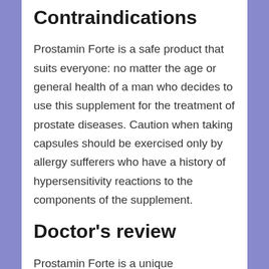Contraindications
Prostamin Forte is a safe product that suits everyone: no matter the age or general health of a man who decides to use this supplement for the treatment of prostate diseases. Caution when taking capsules should be exercised only by allergy sufferers who have a history of hypersensitivity reactions to the components of the supplement.
Doctor's review
Prostamin Forte is a unique development that allows my patients to get rid of all manifestations of prostatitis in a matter of weeks and achieve stable, long-term remission without resorting to